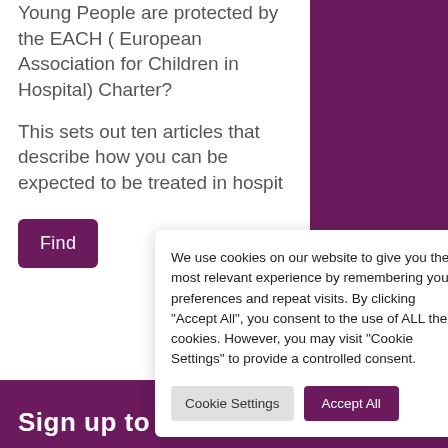Young People are protected by the EACH ( European Association for Children in Hospital) Charter?
This sets out ten articles that describe how you can be expected to be treated in hospit
Find
We use cookies on our website to give you the most relevant experience by remembering your preferences and repeat visits. By clicking "Accept All", you consent to the use of ALL the cookies. However, you may visit "Cookie Settings" to provide a controlled consent.
Cookie Settings
Accept All
Sign up to our news